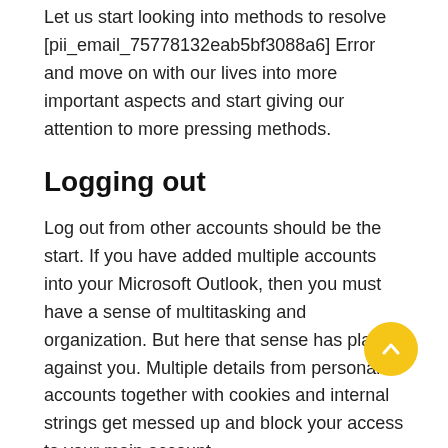Let us start looking into methods to resolve [pii_email_75778132eab5bf3088a6] Error and move on with our lives into more important aspects and start giving our attention to more pressing methods.
Logging out
Log out from other accounts should be the start. If you have added multiple accounts into your Microsoft Outlook, then you must have a sense of multitasking and organization. But here that sense has played against you. Multiple details from personal accounts together with cookies and internal strings get messed up and block your access to your main account.
To filter the information before hand we must have you logged out from all the associated accounts on your Microsoft outlook profile.
Installation